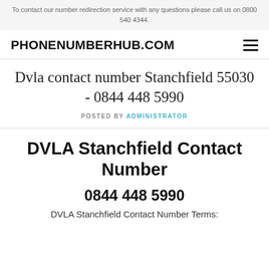To contact our number redirection service with any questions please call us on 0800 540 4344.
PHONENUMBERHUB.COM
Dvla contact number Stanchfield 55030 - 0844 448 5990
POSTED BY ADMINISTRATOR
DVLA Stanchfield Contact Number
0844 448 5990
DVLA Stanchfield Contact Number Terms: